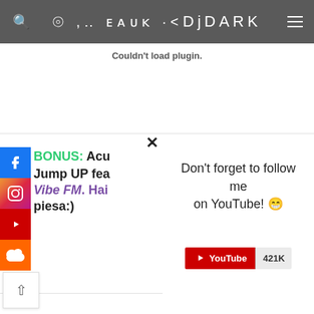DJ DARK
Couldn't load plugin.
BONUS: Acu... Jump UP fea... Vibe FM. Hai... piesa:)
Don't forget to follow me on YouTube! 😁
[Figure (screenshot): YouTube subscribe button showing 421K subscribers]
×